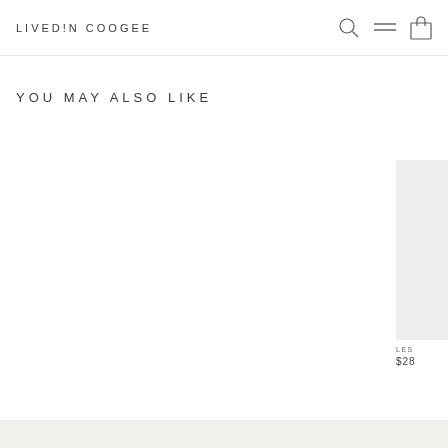LIVEDIN COOGEE
YOU MAY ALSO LIKE
[Figure (photo): Partial product image card visible on right edge with light beige/grey background placeholder]
LES
$28